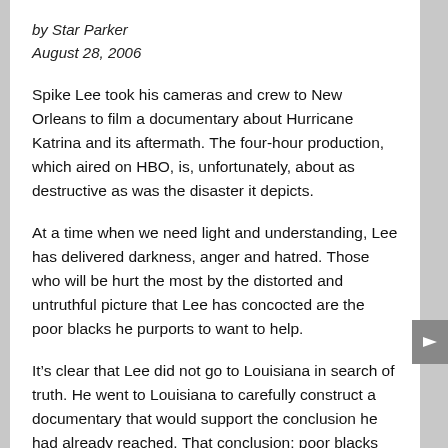by Star Parker
August 28, 2006
Spike Lee took his cameras and crew to New Orleans to film a documentary about Hurricane Katrina and its aftermath. The four-hour production, which aired on HBO, is, unfortunately, about as destructive as was the disaster it depicts.
At a time when we need light and understanding, Lee has delivered darkness, anger and hatred. Those who will be hurt the most by the distorted and untruthful picture that Lee has concocted are the poor blacks he purports to want to help.
It’s clear that Lee did not go to Louisiana in search of truth. He went to Louisiana to carefully construct a documentary that would support the conclusion he had already reached. That conclusion: poor blacks suffered